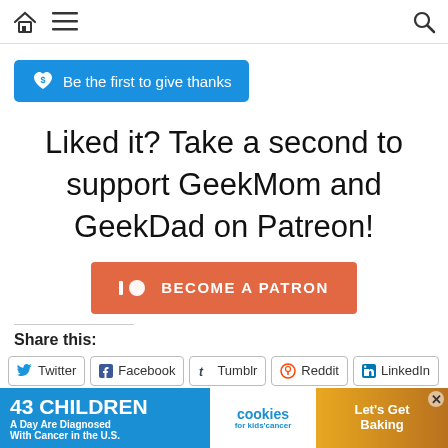Home | Menu | Search
[Figure (other): Blue button: Be the first to give thanks (with heart-dollar icon)]
Liked it? Take a second to support GeekMom and GeekDad on Patreon!
[Figure (other): Patreon orange button: BECOME A PATRON]
Share this:
Twitter
Facebook
Tumblr
Reddit
LinkedIn
[Figure (photo): Advertisement banner: 43 Children A Day Are Diagnosed With Cancer in the U.S. — cookies for kids cancer — Let's Get Baking]